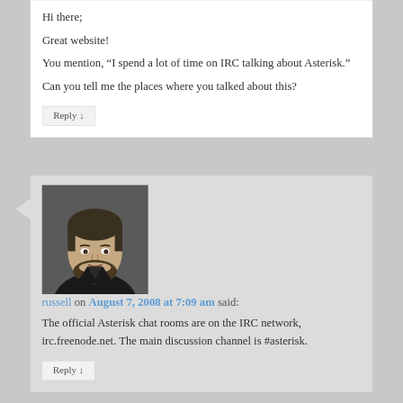Hi there;
Great website!
You mention, “I spend a lot of time on IRC talking about Asterisk.”
Can you tell me the places where you talked about this?
Reply ↓
[Figure (photo): Avatar photo of russell, a man with beard in dark jacket]
russell on August 7, 2008 at 7:09 am said:
The official Asterisk chat rooms are on the IRC network, irc.freenode.net. The main discussion channel is #asterisk.
Reply ↓